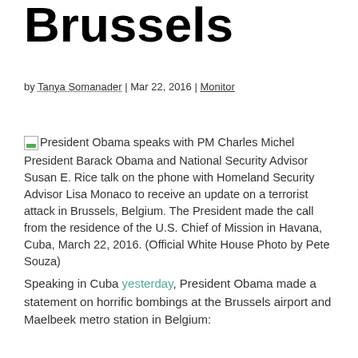Brussels
by Tanya Somanader | Mar 22, 2016 | Monitor
[Figure (photo): Broken image icon placeholder for photo of President Obama speaking with PM Charles Michel]
President Obama speaks with PM Charles Michel
President Barack Obama and National Security Advisor Susan E. Rice talk on the phone with Homeland Security Advisor Lisa Monaco to receive an update on a terrorist attack in Brussels, Belgium. The President made the call from the residence of the U.S. Chief of Mission in Havana, Cuba, March 22, 2016. (Official White House Photo by Pete Souza)
Speaking in Cuba yesterday, President Obama made a statement on horrific bombings at the Brussels airport and Maelbeek metro station in Belgium: